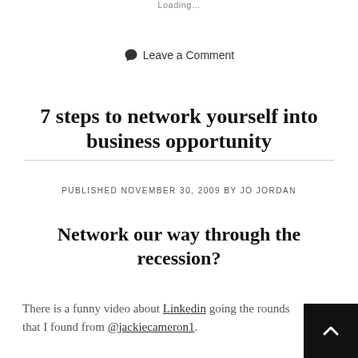Loading...
💬 Leave a Comment
7 steps to network yourself into business opportunity
PUBLISHED NOVEMBER 30, 2009 BY JO JORDAN
Network our way through the recession?
There is a funny video about Linkedin going the rounds that I found from @jackiecameron1.